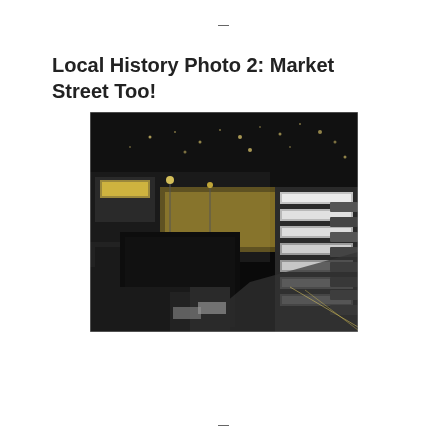—
Local History Photo 2: Market Street Too!
[Figure (photo): Black and white aerial night photograph of Market Street showing illuminated storefronts, parked cars along the curb, and distant city lights in the background. The street runs diagonally from upper left to lower right with bright commercial signage visible.]
—